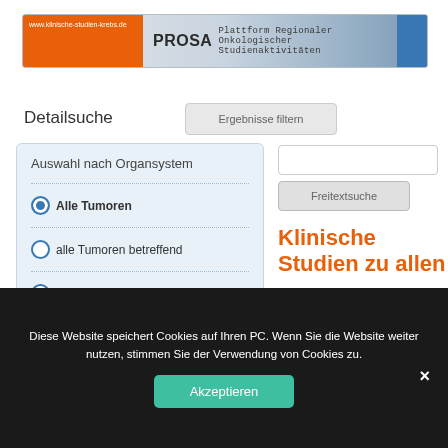[Figure (screenshot): PROSA website header with orange URL bar showing www.klinische-studien-krebs.de and text 'PROSA Plattform Regionaler Onkologischer Studienaktivitäten']
Detailsuche
Ergebnisse filtern
Auswahl nach Organsystem
Alle Tumoren
alle Tumoren betreffend
Brustkrebs
Darmkrebs
Freitextsuche
Klinische Studien zu allen
Diese Website speichert Cookies auf Ihren PC. Wenn Sie die Website weiter nutzen, stimmen Sie der Verwendung von Cookies zu.
Akzeptieren